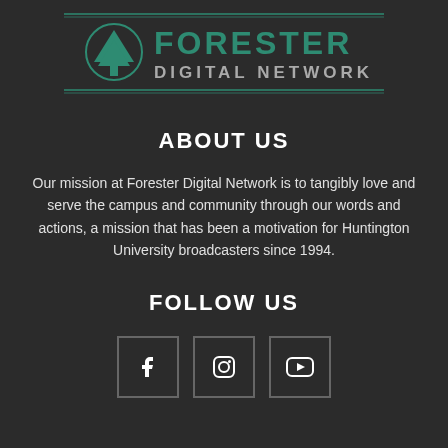[Figure (logo): Forester Digital Network logo with tree icon and teal/green text on dark background with horizontal lines]
ABOUT US
Our mission at Forester Digital Network is to tangibly love and serve the campus and community through our words and actions, a mission that has been a motivation for Huntington University broadcasters since 1994.
FOLLOW US
[Figure (other): Three social media icon buttons: Facebook (f), Instagram (camera), YouTube (play button)]